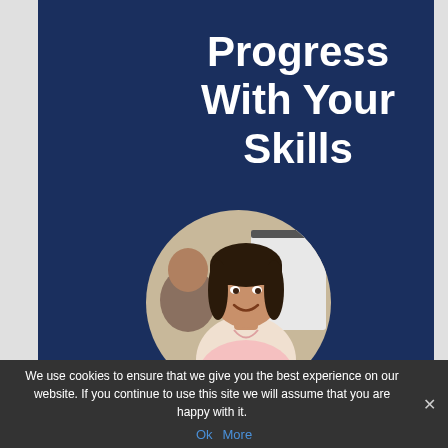Progress With Your Skills
[Figure (photo): Circular cropped photo of a smiling woman with dark hair in a professional setting, with another person partially visible in the background]
We use cookies to ensure that we give you the best experience on our website. If you continue to use this site we will assume that you are happy with it.
Ok  More